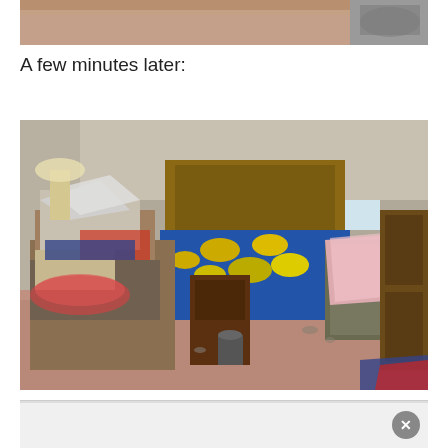[Figure (photo): Partial view of a bedroom with pink carpet, top portion cropped. Shows the edge of a bed and some items on the right side.]
A few minutes later:
[Figure (photo): A very messy and cluttered bedroom with pink carpet. There is a bed with a blue and yellow floral bedspread, piles of clothing and boxes stacked on the left side, a nightstand in the middle, a chair on the right with a pink blanket draped over it, and a dresser on the far right. Items are scattered across the floor.]
[Figure (photo): Partial advertisement banner at the bottom of the page with a grey/white background and a close (X) button on the right side.]